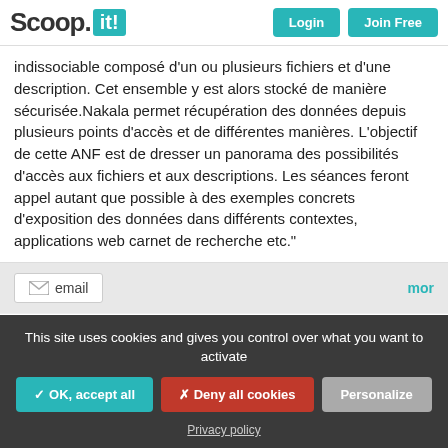Scoop.it! Login Join Free
indissociable composé d'un ou plusieurs fichiers et d'une description. Cet ensemble y est alors stocké de manière sécurisée.Nakala permet récupération des données depuis plusieurs points d'accès et de différentes manières. L'objectif de cette ANF est de dresser un panorama des possibilités d'accès aux fichiers et aux descriptions. Les séances feront appel autant que possible à des exemples concrets d'exposition des données dans différents contextes, applications web carnet de recherche etc."
[Figure (screenshot): email share button and 'more' link on a light grey share bar]
Scooped by Stéphane Cottin
This site uses cookies and gives you control over what you want to activate
✓ OK, accept all   ✗ Deny all cookies   Personalize   Privacy policy